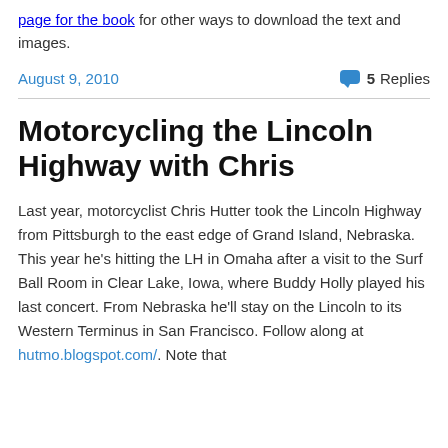page for the book for other ways to download the text and images.
August 9, 2010   5 Replies
Motorcycling the Lincoln Highway with Chris
Last year, motorcyclist Chris Hutter took the Lincoln Highway from Pittsburgh to the east edge of Grand Island, Nebraska. This year he's hitting the LH in Omaha after a visit to the Surf Ball Room in Clear Lake, Iowa, where Buddy Holly played his last concert. From Nebraska he'll stay on the Lincoln to its Western Terminus in San Francisco. Follow along at hutmo.blogspot.com/. Note that